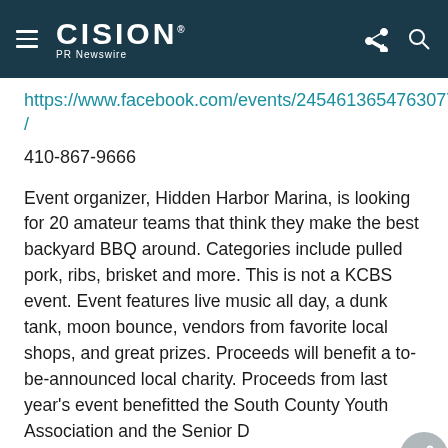CISION PR Newswire
https://www.facebook.com/events/2454613654763077/
410-867-9666
Event organizer, Hidden Harbor Marina, is looking for 20 amateur teams that think they make the best backyard BBQ around. Categories include pulled pork, ribs, brisket and more. This is not a KCBS event. Event features live music all day, a dunk tank, moon bounce, vendors from favorite local shops, and great prizes. Proceeds will benefit a to-be-announced local charity. Proceeds from last year's event benefitted the South County Youth Association and the Senior Dog Sanctuary of Maryland. Some 1,400 individuals